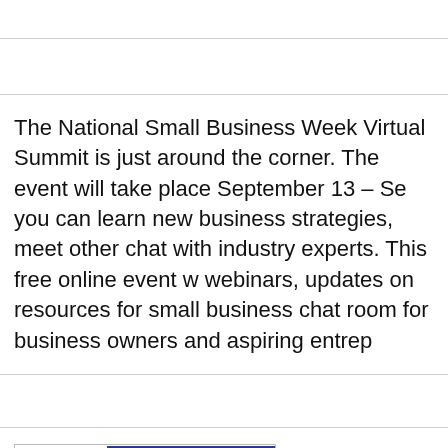The National Small Business Week Virtual Summit is just around the corner. The event will take place September 13 – Se... where you can learn new business strategies, meet other... chat with industry experts. This free online event w... webinars, updates on resources for small business... chat room for business owners and aspiring entrep...
[Figure (other): REGISTER button with input field area — a web form registration element with a white input box and a dark blue button labeled REGISTER in bold white uppercase text]
[Figure (other): Scroll-to-top button (chevron up arrow) in light gray, positioned at bottom right, and a gray banner strip at the bottom of the page]